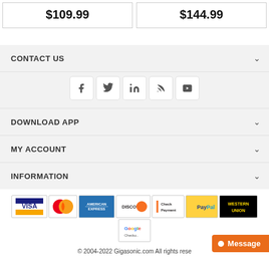| $109.99 | $144.99 |
CONTACT US
[Figure (infographic): Social media icons: Facebook, Twitter, LinkedIn, RSS feed, YouTube]
DOWNLOAD APP
MY ACCOUNT
INFORMATION
[Figure (infographic): Payment method logos: Visa, MasterCard, American Express, Discover, Check Payment, PayPal, Western Union, Google Checkout]
© 2004-2022 Gigasonic.com All rights rese…